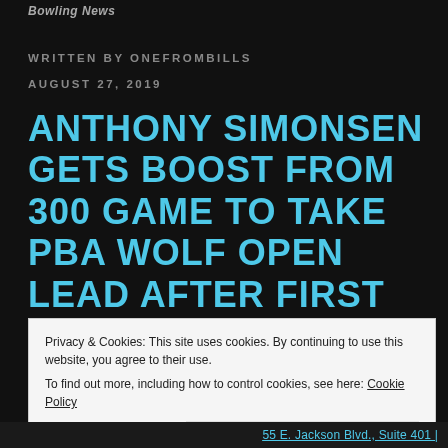Bowling News
WRITTEN BY ONEFROMBILLS
AUGUST 27, 2019
ANTHONY SIMONSEN GETS BOOST FROM 300 GAME TO TAKE PBA WOLF OPEN LEAD AFTER FIRST ROUND
Privacy & Cookies: This site uses cookies. By continuing to use this website, you agree to their use.
To find out more, including how to control cookies, see here: Cookie Policy
Close and accept
55 E. Jackson Blvd., Suite 401 |